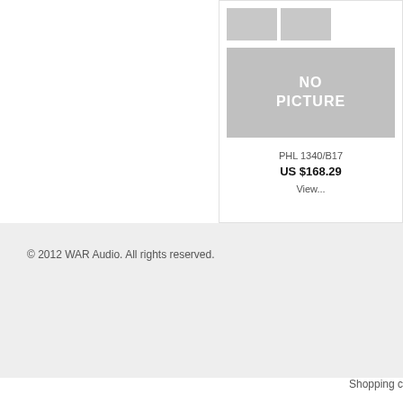[Figure (other): Product card showing placeholder images and product details for PHL 1340/B17]
PHL 1340/B17
US $168.29
View...
© 2012 WAR Audio. All rights reserved.
Shopping c